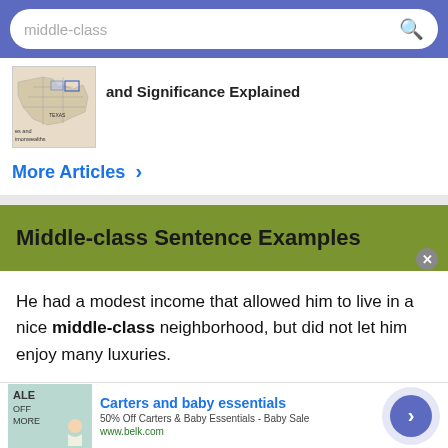middle-class
[Figure (illustration): Thumbnail map image showing states and commonwealths of the US]
and Significance Explained
More Articles >
Middle-class Sentence Examples
He had a modest income that allowed him to live in a nice middle-class neighborhood, but did not let him enjoy many luxuries.
[Figure (illustration): Advertisement banner: Carters and baby essentials, 50% Off Carters & Baby Essentials - Baby Sale, www.belk.com]